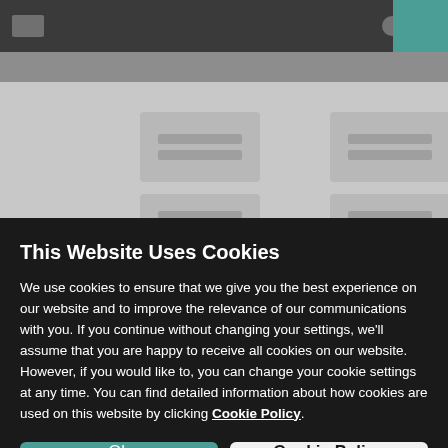[Figure (screenshot): Blurred website background showing a dark top bar with navigation icons and a teal accent box on the right, a lighter navigation/tab bar below, and a gray content area with blurred card-like elements.]
This Website Uses Cookies
We use cookies to ensure that we give you the best experience on our website and to improve the relevance of our communications with you. If you continue without changing your settings, we'll assume that you are happy to receive all cookies on our website. However, if you would like to, you can change your cookie settings at any time. You can find detailed information about how cookies are used on this website by clicking Cookie Policy.